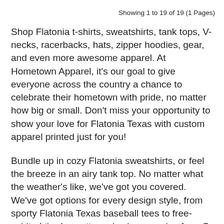Showing 1 to 19 of 19 (1 Pages)
Shop Flatonia t-shirts, sweatshirts, tank tops, V-necks, racerbacks, hats, zipper hoodies, gear, and even more awesome apparel. At Hometown Apparel, it's our goal to give everyone across the country a chance to celebrate their hometown with pride, no matter how big or small. Don't miss your opportunity to show your love for Flatonia Texas with custom apparel printed just for you!
Bundle up in cozy Flatonia sweatshirts, or feel the breeze in an airy tank top. No matter what the weather's like, we've got you covered. We've got options for every design style, from sporty Flatonia Texas baseball tees to free-spirited tie-dye patterns in sizes ranging from S to 3xl. They're a fantastic way to make a community event even more memorable. Wear them together as one of